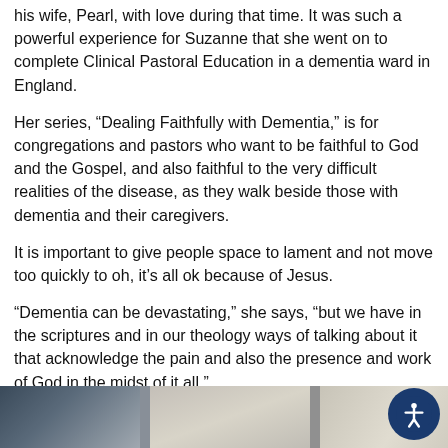his wife, Pearl, with love during that time. It was such a powerful experience for Suzanne that she went on to complete Clinical Pastoral Education in a dementia ward in England.
Her series, “Dealing Faithfully with Dementia,” is for congregations and pastors who want to be faithful to God and the Gospel, and also faithful to the very difficult realities of the disease, as they walk beside those with dementia and their caregivers.
It is important to give people space to lament and not move too quickly to oh, it’s all ok because of Jesus.
“Dementia can be devastating,” she says, “but we have in the scriptures and in our theology ways of talking about it that acknowledge the pain and also the presence and work of God in the midst of it all.”
[Figure (photo): Partial bottom strip of a room interior photo, showing dark furniture on the left and light-colored artwork or frames on a wall on the right.]